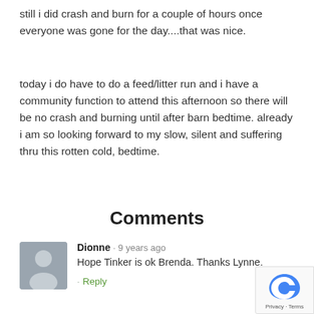still i did crash and burn for a couple of hours once everyone was gone for the day....that was nice.
today i do have to do a feed/litter run and i have a community function to attend this afternoon so there will be no crash and burning until after barn bedtime. already i am so looking forward to my slow, silent and suffering thru this rotten cold, bedtime.
Comments
Dionne · 9 years ago
Hope Tinker is ok Brenda. Thanks Lynne.
· Reply